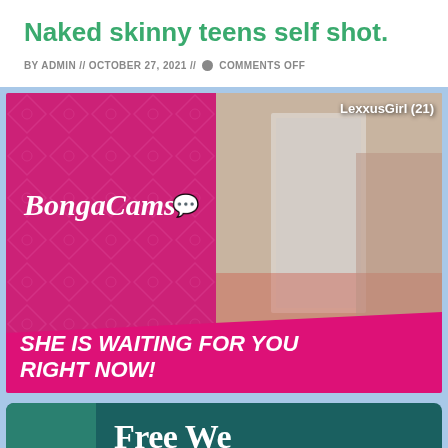Naked skinny teens self shot.
BY ADMIN // OCTOBER 27, 2021 // COMMENTS OFF
[Figure (screenshot): BongaCams advertisement banner showing pink left panel with BongaCams logo and right panel with webcam image, plus diagonal 'SHE IS WAITING FOR YOU RIGHT NOW!' banner at bottom]
[Figure (screenshot): Second advertisement banner with dark teal background showing 'Free We' text (partially cropped)]
delighted that she was wearing no undergarments. It...